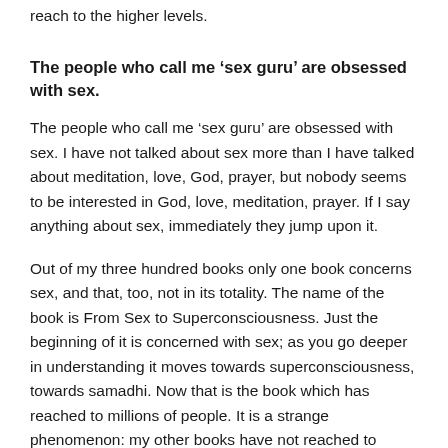reach to the higher levels.
The people who call me ‘sex guru’ are obsessed with sex.
The people who call me ‘sex guru’ are obsessed with sex. I have not talked about sex more than I have talked about meditation, love, God, prayer, but nobody seems to be interested in God, love, meditation, prayer. If I say anything about sex, immediately they jump upon it.
Out of my three hundred books only one book concerns sex, and that, too, not in its totality. The name of the book is From Sex to Superconsciousness. Just the beginning of it is concerned with sex; as you go deeper in understanding it moves towards superconsciousness, towards samadhi. Now that is the book which has reached to millions of people. It is a strange phenomenon: my other books have not reached to